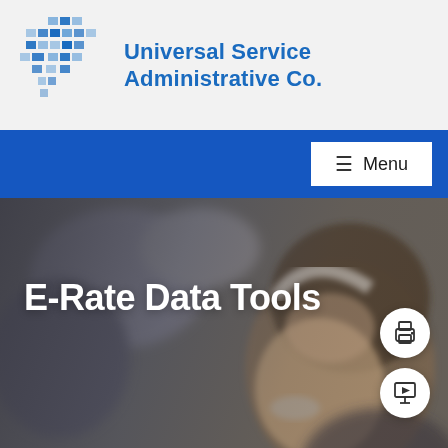[Figure (logo): Universal Service Administrative Co. logo with blue pixel/grid pattern icon and blue text]
Menu
E-Rate Data Tools
[Figure (photo): Blurred background photo of a young woman with curly hair wearing a headset, looking down at a screen]